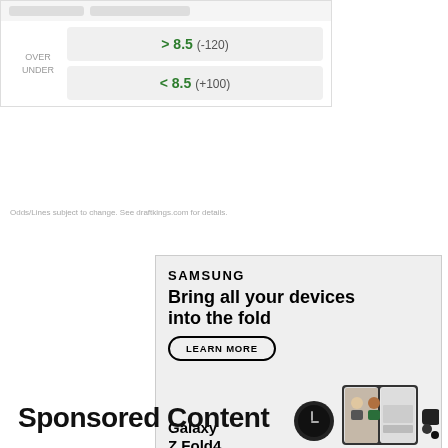| OVER / UNDER | > 8.5 (-120) |
|  | < 8.5 (+100) |
Odds/Lines subject to change. See draftkings.com for details.
[Figure (infographic): Samsung advertisement for Galaxy Z Fold4 with tagline 'Bring all your devices into the fold', LEARN MORE button, and product image showing smartwatch, foldable phone and earbuds.]
Sponsored Content